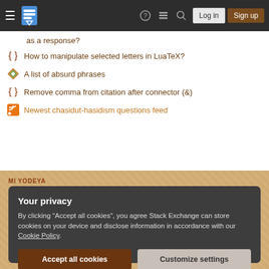Mi Yodeya Stack Exchange navigation bar with Log in and Sign up buttons
as a response?
How to manipulate selected letters in LuaTeX?
A list of absurd phrases
Remove comma from citation after connector (&)
Newest chasidut-hasidism questions feed
MI YODEYA
Tour   Help   Chat   Contact   Feedback
COMPANY
Your privacy
By clicking "Accept all cookies", you agree Stack Exchange can store cookies on your device and disclose information in accordance with our Cookie Policy.
Accept all cookies   Customize settings